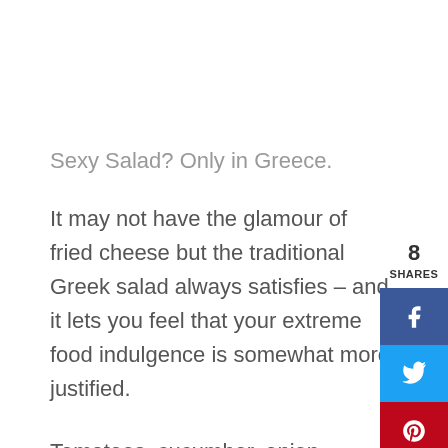Sexy Salad? Only in Greece.
It may not have the glamour of fried cheese but the traditional Greek salad always satisfies – and it lets you feel that your extreme food indulgence is somewhat more justified.
Tomatoes, cucumber, onion, peppers, olives and feta cheese. It's simple, and when prepared just right, which it seems to be everywhere in Greece, it's a